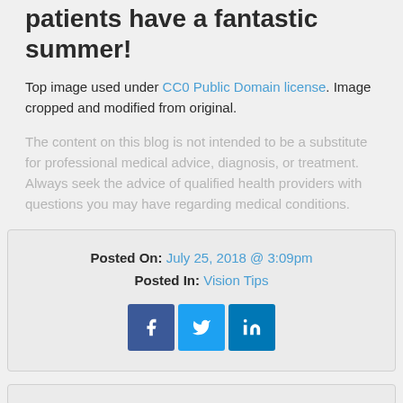patients have a fantastic summer!
Top image used under CC0 Public Domain license. Image cropped and modified from original.
The content on this blog is not intended to be a substitute for professional medical advice, diagnosis, or treatment. Always seek the advice of qualified health providers with questions you may have regarding medical conditions.
Posted On: July 25, 2018 @ 3:09pm
Posted In: Vision Tips
[Figure (infographic): Social media share buttons for Facebook, Twitter, and LinkedIn]